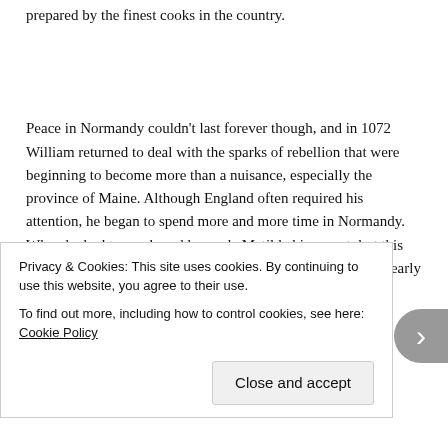prepared by the finest cooks in the country.
Peace in Normandy couldn't last forever though, and in 1072 William returned to deal with the sparks of rebellion that were beginning to become more than a nuisance, especially the province of Maine. Although England often required his attention, he began to spend more and more time in Normandy. When he had to go abroad he made Matilda his regent, but this caused conflict with young Robert. Now a young man in his early 20's, he could have expected to be made
Privacy & Cookies: This site uses cookies. By continuing to use this website, you agree to their use.
To find out more, including how to control cookies, see here: Cookie Policy
Close and accept